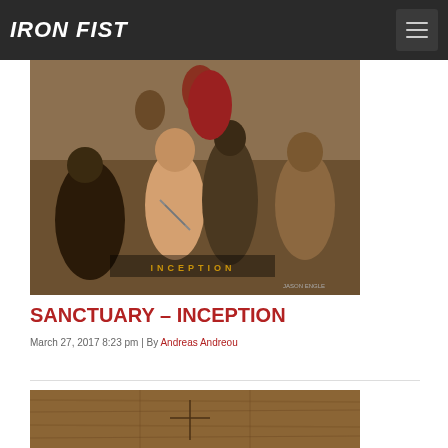IRON FIST
[Figure (illustration): Album cover art for Sanctuary – Inception showing medieval figures in a dramatic scene with robed characters, the word INCEPTION in gold lettering at the bottom]
SANCTUARY – INCEPTION
March 27, 2017 8:23 pm | By Andreas Andreou
[Figure (illustration): Partial image showing a wooden textured surface with a cross etched or carved into it]